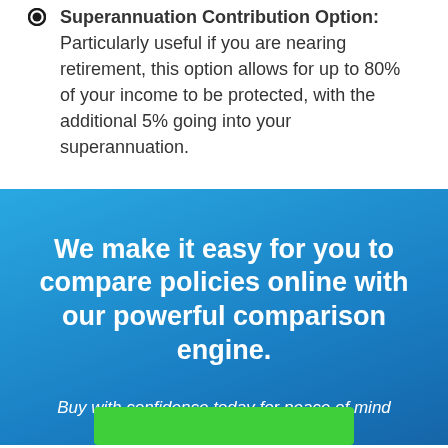Superannuation Contribution Option: Particularly useful if you are nearing retirement, this option allows for up to 80% of your income to be protected, with the additional 5% going into your superannuation.
We make it easy for you to compare policies online with our powerful comparison engine.
Buy with confidence today for peace of mind tomorrow.